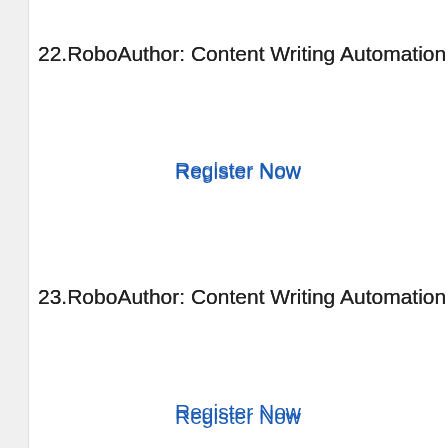22.RoboAuthor: Content Writing Automation 2
Register Now
23.RoboAuthor: Content Writing Automation 2
Register Now
24.RoboAuthor: Content Writing Automation 2
Register Now
25.IELTS Guide for Non-Native Speakers- How d
Register Now
26.ECCouncil CESS Security Certified Pract